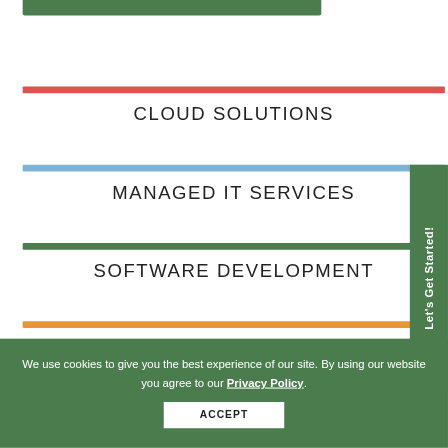CLOUD SOLUTIONS
MANAGED IT SERVICES
SOFTWARE DEVELOPMENT
IT CONSULTING
Let's Get Started!
We use cookies to give you the best experience of our site. By using our website you agree to our Privacy Policy.
ACCEPT